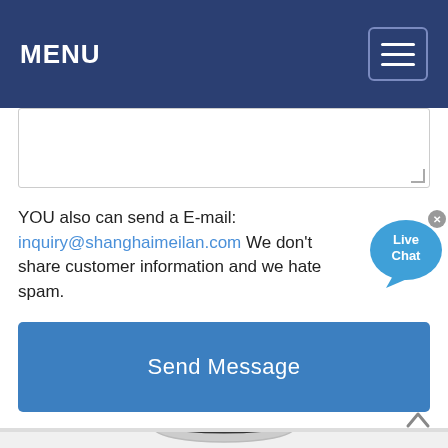MENU
[Figure (screenshot): Textarea input box for message entry]
YOU also can send a E-mail: inquiry@shanghaimeilan.com We don't share customer information and we hate spam.
[Figure (illustration): Live Chat speech bubble icon with 'Live Chat' text and close X button]
Send Message
[Figure (photo): Industrial equipment (cone crusher or similar) with AMC branding visible, photographed from above/side on white background]